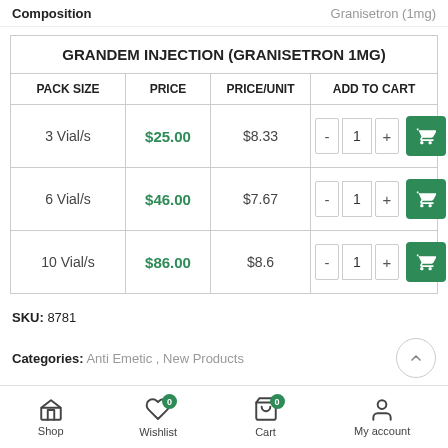Composition | Granisetron (1mg)
| PACK SIZE | PRICE | PRICE/UNIT | ADD TO CART |
| --- | --- | --- | --- |
| 3 Vial/s | $25.00 | $8.33 | - 1 + [cart] |
| 6 Vial/s | $46.00 | $7.67 | - 1 + [cart] |
| 10 Vial/s | $86.00 | $8.6 | - 1 + [cart] |
SKU: 8781
Categories: Anti Emetic, New Products
Shop | Wishlist 0 | Cart 0 | My account